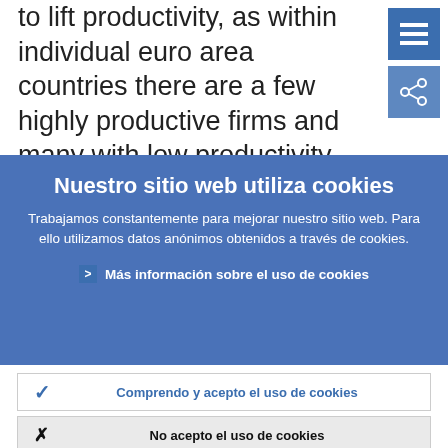to lift productivity, as within individual euro area countries there are a few highly productive firms and many with low productivity. And some recent evidence shows that – following the reforms
Nuestro sitio web utiliza cookies
Trabajamos constantemente para mejorar nuestro sitio web. Para ello utilizamos datos anónimos obtenidos a través de cookies.
› Más información sobre el uso de cookies
✓ Comprendo y acepto el uso de cookies
✕ No acepto el uso de cookies